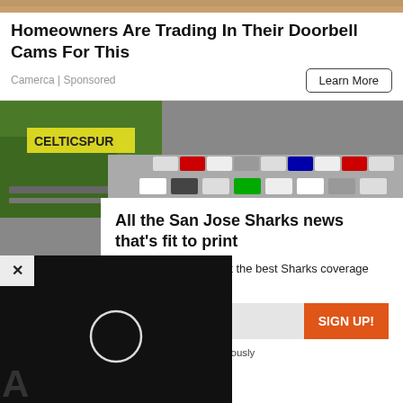[Figure (photo): Aerial or overhead photo strip at top of page (partial, cropped)]
Homeowners Are Trading In Their Doorbell Cams For This
Camerca | Sponsored
[Figure (photo): Aerial view of a large parking lot filled with cars, with railway tracks and green trees along the left side. A white overlay card appears over the lower portion of the image.]
All the San Jose Sharks news that's fit to print
Enter your email to get the best Sharks coverage inbox.
here
SIGN UP!
and take protecting it seriously
[Figure (screenshot): Black video player overlay with X close button in top-left and circular play/loading icon in center]